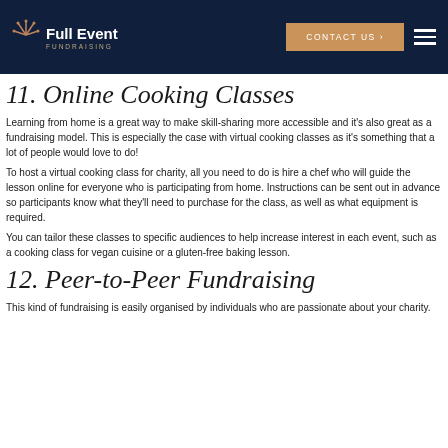Full Event Fundraising | CONTACT US
11. Online Cooking Classes
Learning from home is a great way to make skill-sharing more accessible and it's also great as a fundraising model. This is especially the case with virtual cooking classes as it's something that a lot of people would love to do!
To host a virtual cooking class for charity, all you need to do is hire a chef who will guide the lesson online for everyone who is participating from home. Instructions can be sent out in advance so participants know what they'll need to purchase for the class, as well as what equipment is required.
You can tailor these classes to specific audiences to help increase interest in each event, such as a cooking class for vegan cuisine or a gluten-free baking lesson.
12. Peer-to-Peer Fundraising
This kind of fundraising is easily organised by individuals who are passionate about your charity.